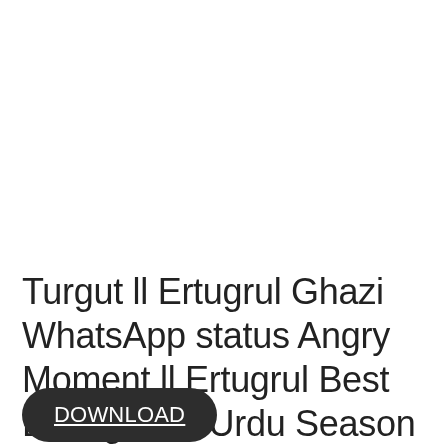Turgut ll Ertugrul Ghazi WhatsApp status Angry Moment ll Ertugrul Best Dialogue in Urdu Season 03
DOWNLOAD